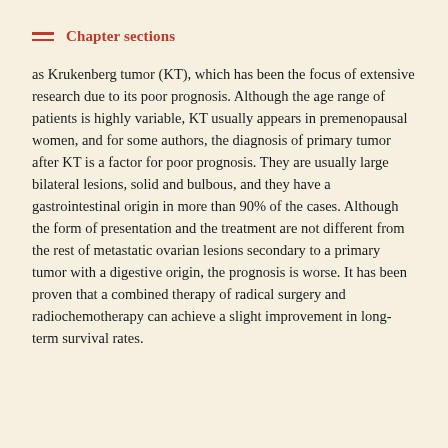Chapter sections
as Krukenberg tumor (KT), which has been the focus of extensive research due to its poor prognosis. Although the age range of patients is highly variable, KT usually appears in premenopausal women, and for some authors, the diagnosis of primary tumor after KT is a factor for poor prognosis. They are usually large bilateral lesions, solid and bulbous, and they have a gastrointestinal origin in more than 90% of the cases. Although the form of presentation and the treatment are not different from the rest of metastatic ovarian lesions secondary to a primary tumor with a digestive origin, the prognosis is worse. It has been proven that a combined therapy of radical surgery and radiochemotherapy can achieve a slight improvement in long-term survival rates.